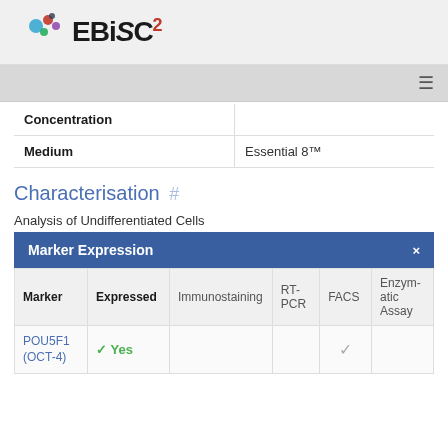[Figure (logo): EBiSC2 logo with colored circles above the text]
≡
| Concentration |  |
| --- | --- |
| Concentration |  |
| Medium | Essential 8™ |
Characterisation #
Analysis of Undifferentiated Cells
| Marker | Expressed | Immunostaining | RT-PCR | FACS | Enzymatic Assay |
| --- | --- | --- | --- | --- | --- |
| POU5F1 (OCT-4) | ✓ Yes |  |  | ✓ |  |